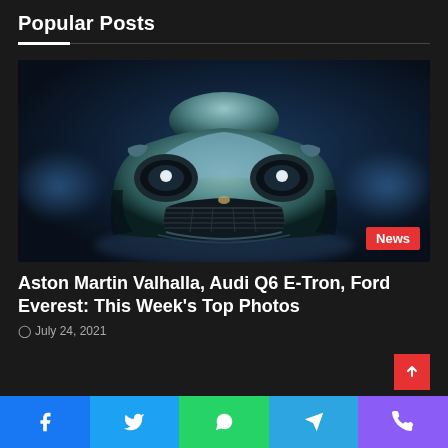Popular Posts
[Figure (photo): Front view of an Aston Martin Valhalla supercar in dark teal/grey color against a dark blue studio background, with a 'News' badge in the bottom right corner]
Aston Martin Valhalla, Audi Q6 E-Tron, Ford Everest: This Week's Top Photos
July 24, 2021